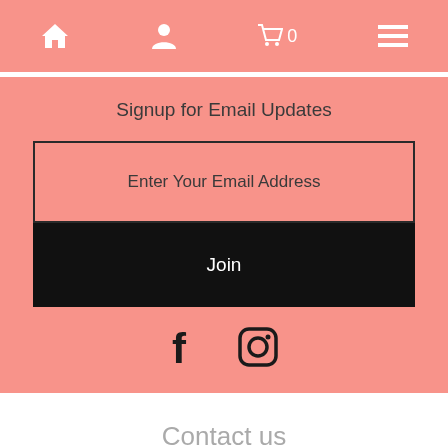Navigation bar with home, account, cart (0), and menu icons
Signup for Email Updates
Enter Your Email Address
Join
[Figure (other): Facebook and Instagram social media icons]
Contact us
Email
junelilybeauty@gmail.com
Phone